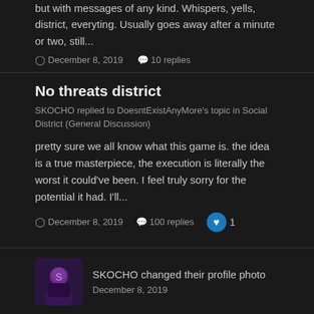but with messages of any kind. Whispers, yells, district, everyting. Usually goes away after a minute or two, still...
December 8, 2019   10 replies
No threats district
SKOCHO replied to DoesntExistAnyMore's topic in Social District (General Discussion)
pretty sure we all know what this game is. the idea is a true masterpiece, the execution is literally the worst it could've been. I feel truly sorry for the potential it had. I'll...
December 8, 2019   100 replies   1
SKOCHO changed their profile photo
December 8, 2019
No car plate for crims